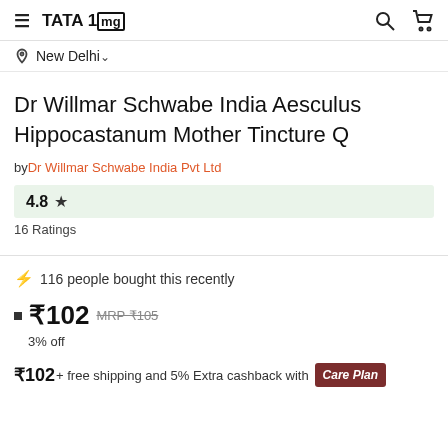TATA 1mg
New Delhi
Dr Willmar Schwabe India Aesculus Hippocastanum Mother Tincture Q
by Dr Willmar Schwabe India Pvt Ltd
4.8 ★
16 Ratings
116 people bought this recently
₹102 MRP ₹105
3% off
₹102+ free shipping and 5% Extra cashback with Care Plan